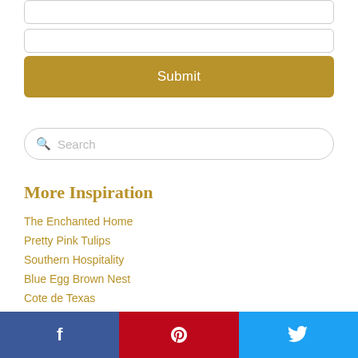[Figure (screenshot): Two stacked input text boxes with gray border and rounded corners]
[Figure (screenshot): Submit button with dark golden/tan background and white text 'Submit']
[Figure (screenshot): Search bar with magnifying glass icon and placeholder text 'Search']
More Inspiration
The Enchanted Home
Pretty Pink Tulips
Southern Hospitality
Blue Egg Brown Nest
Cote de Texas
[Figure (screenshot): Social media share buttons: Facebook (blue), Pinterest (red), Twitter (light blue)]